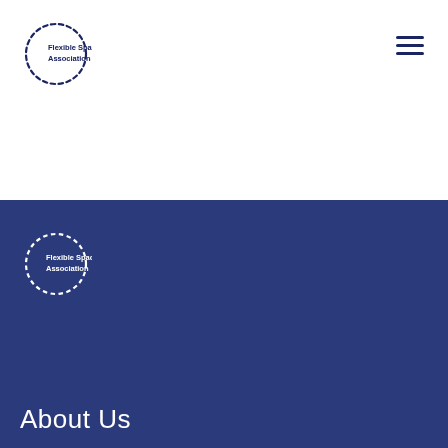[Figure (logo): Flexible Space Association logo with dashed circle and text on white background]
[Figure (other): Hamburger menu icon (three horizontal lines) in dark navy]
[Figure (logo): Flexible Space Association logo with dashed circle and white text on dark blue background]
About Us